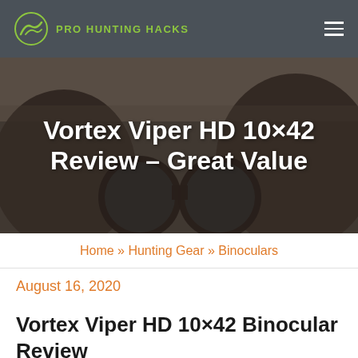PRO HUNTING HACKS
[Figure (photo): Hands holding binoculars up to viewer's perspective, dark moody photo used as hero image background]
Vortex Viper HD 10×42 Review – Great Value
Home » Hunting Gear » Binoculars
August 16, 2020
Vortex Viper HD 10×42 Binocular Review